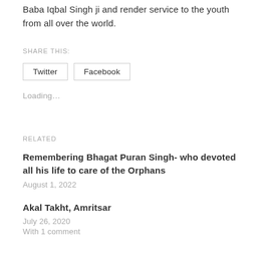Baba Iqbal Singh ji and render service to the youth from all over the world.
SHARE THIS:
Twitter  Facebook
Loading...
RELATED
Remembering Bhagat Puran Singh- who devoted all his life to care of the Orphans
August 1, 2022
Akal Takht, Amritsar
July 26, 2020
With 1 comment